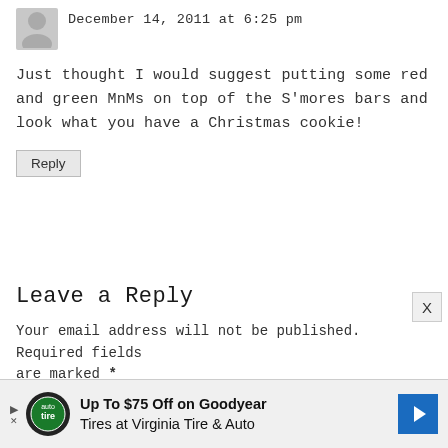[Figure (illustration): User avatar placeholder icon (gray silhouette)]
December 14, 2011 at 6:25 pm
Just thought I would suggest putting some red and green MnMs on top of the S'mores bars and look what you have a Christmas cookie!
Reply
Leave a Reply
Your email address will not be published. Required fields are marked *
Recipe Rating
[Figure (illustration): Five empty star rating icons]
[Figure (illustration): Advertisement banner: Up To $75 Off on Goodyear Tires at Virginia Tire & Auto]